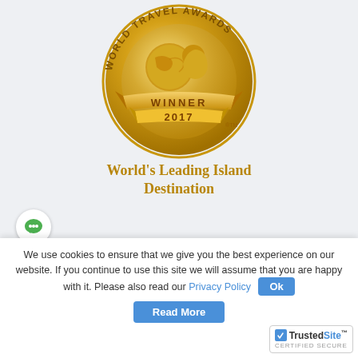[Figure (logo): World Travel Awards Winner 2017 circular gold medallion badge with globe and person silhouette, ribbon banner reading WINNER 2017]
World's Leading Island Destination
[Figure (logo): Partial World Travel Awards circular gold medallion badge (cropped at bottom of page)]
We use cookies to ensure that we give you the best experience on our website. If you continue to use this site we will assume that you are happy with it. Please also read our Privacy Policy
[Figure (logo): TrustedSite Certified Secure badge with checkmark]